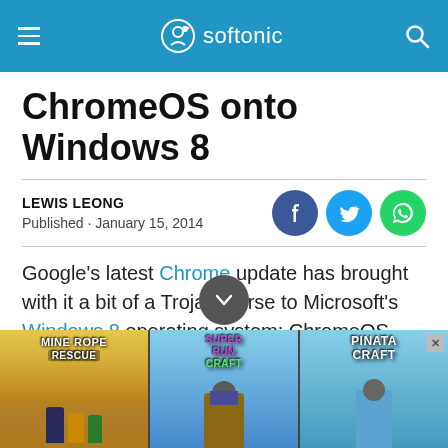softonic
ChromeOS onto Windows 8
LEWIS LEONG
Published · January 15, 2014
Google's latest Chrome update has brought with it a bit of a Trojan Horse to Microsoft's Windows 8 operating system: ChromeOS. Chrome 32 now has a "Metro" style UI that works and looks just like, for the most part, ChromeOS. The app will
[Figure (screenshot): Advertisement banner at the bottom showing three game ads: Mine Rope Rescue, Super Run Craft, and Pinata Craft]